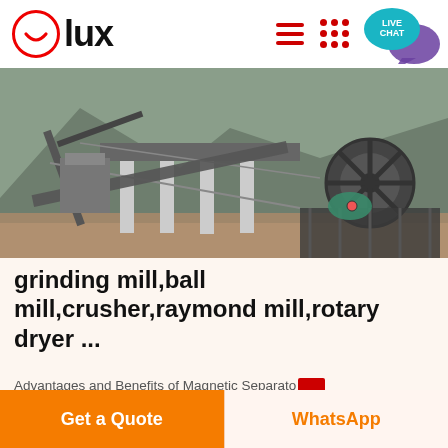[Figure (logo): Olux company logo with red circle containing white smile icon, followed by bold text 'lux']
[Figure (photo): Industrial mining/crushing plant with conveyor belts, large machinery, concrete pillars, and a large wheel/gear visible, set against a mountainous background with dirt ground in foreground]
grinding mill,ball mill,crusher,raymond mill,rotary dryer ...
Advantages and Benefits of Magnetic Separator
Get a Quote
WhatsApp